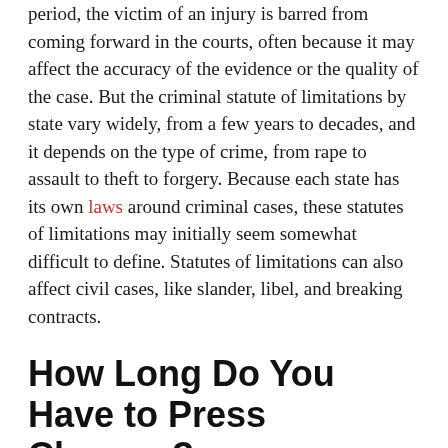period, the victim of an injury is barred from coming forward in the courts, often because it may affect the accuracy of the evidence or the quality of the case. But the criminal statute of limitations by state vary widely, from a few years to decades, and it depends on the type of crime, from rape to assault to theft to forgery. Because each state has its own laws around criminal cases, these statutes of limitations may initially seem somewhat difficult to define. Statutes of limitations can also affect civil cases, like slander, libel, and breaking contracts.
How Long Do You Have to Press Charges?
If you're a victim of a crime, the amount of time you have to press charges depends on the crime itself and the statute of limitations of the state you're in. For example, if you're a victim of a violent rape, in many states, there are no statutes of limitations, meaning you can press charges at